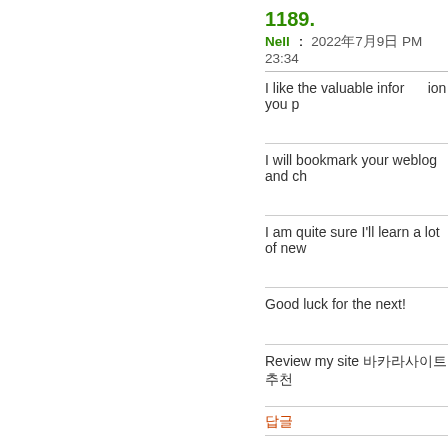1189.
Nell : 2022年7月9日 PM 23:34
I like the valuable information you p
[Figure (illustration): Circular icon with dark grey border, green inner circle with white upward triangle/play arrow]
I will bookmark your weblog and ch
[Figure (illustration): Circular icon with dark grey border, house/home symbol in white]
I am quite sure I'll learn a lot of new
[Figure (illustration): Circular icon with dark grey border, red person/user silhouette]
Good luck for the next!
[Figure (illustration): Circular icon with dark grey border, purple storefront/shop icon]
Review my site 바카라사이트추천
답글
[Figure (illustration): Circular icon with dark grey border, yellow star with plus sign]
1190.